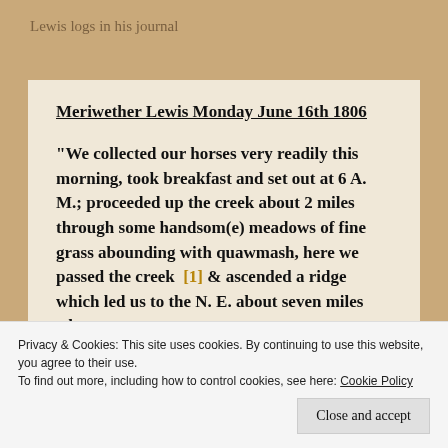Lewis logs in his journal
Meriwether Lewis Monday June 16th 1806
“We collected our horses very readily this morning, took breakfast and set out at 6 A. M.; proceeded up the creek about 2 miles through some handsom(e) meadows of fine grass abounding with quawmash, here we passed the creek  [1] & ascended a ridge which led us to the N. E. about seven miles when we
Privacy & Cookies: This site uses cookies. By continuing to use this website, you agree to their use.
To find out more, including how to control cookies, see here: Cookie Policy
Close and accept